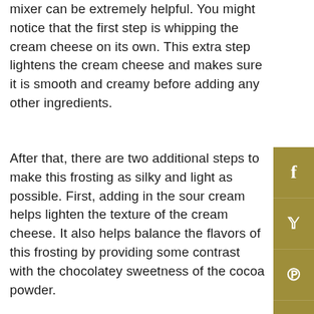mixer can be extremely helpful. You might notice that the first step is whipping the cream cheese on its own. This extra step lightens the cream cheese and makes sure it is smooth and creamy before adding any other ingredients.
After that, there are two additional steps to make this frosting as silky and light as possible. First, adding in the sour cream helps lighten the texture of the cream cheese. It also helps balance the flavors of this frosting by providing some contrast with the chocolatey sweetness of the cocoa powder.